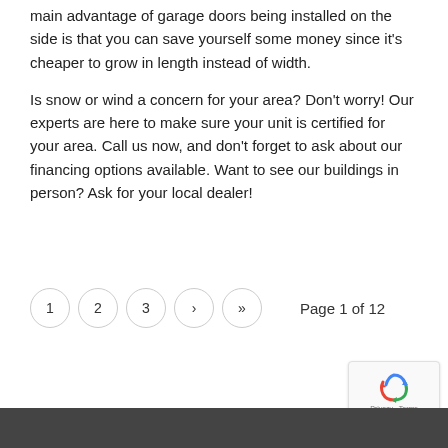main advantage of garage doors being installed on the side is that you can save yourself some money since it's cheaper to grow in length instead of width.
Is snow or wind a concern for your area? Don't worry! Our experts are here to make sure your unit is certified for your area. Call us now, and don't forget to ask about our financing options available. Want to see our buildings in person? Ask for your local dealer!
1  2  3  ›  »   Page 1 of 12